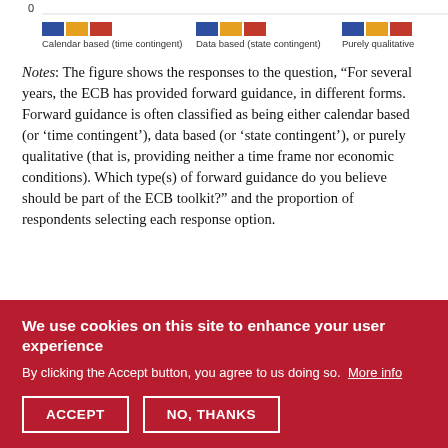[Figure (other): Partial bottom of a grouped bar chart showing legend: blue, orange, red color swatches for 'Calendar based (time contingent)', 'Data based (state contingent)', and 'Purely qualitative'. The y-axis shows value 0 at bottom.]
Notes: The figure shows the responses to the question, "For several years, the ECB has provided forward guidance, in different forms. Forward guidance is often classified as being either calendar based (or 'time contingent'), data based (or 'state contingent'), or purely qualitative (that is, providing neither a time frame nor economic conditions). Which type(s) of forward guidance do you believe should be part of the ECB toolkit?" and the proportion of respondents selecting each response option.
The survey also asked for respondents' views regarding
We use cookies on this site to enhance your user experience
By clicking the Accept button, you agree to us doing so. More info
ACCEPT   NO, THANKS